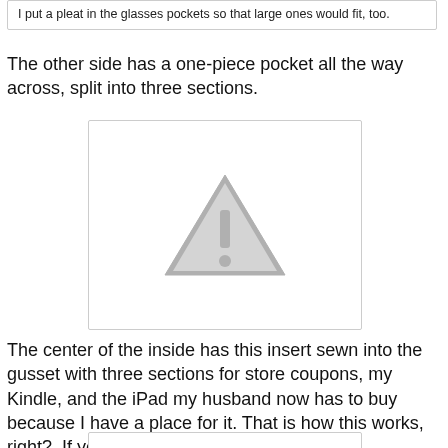I put a pleat in the glasses pockets so that large ones would fit, too.
The other side has a one-piece pocket all the way across, split into three sections.
[Figure (photo): Image placeholder with warning/missing image icon (grey triangle with exclamation mark)]
The center of the inside has this insert sewn into the gusset with three sections for store coupons, my Kindle, and the iPad my husband now has to buy because I have a place for it. That is how this works, right?  If you make it, they will fill it.